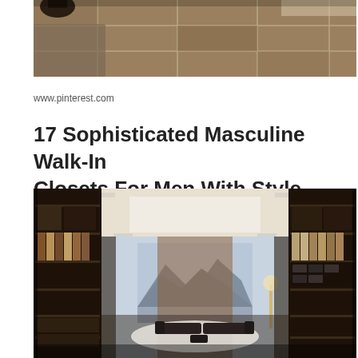[Figure (photo): Interior photo of a room with large stone/slate floor tiles in tan and brown tones, with a dark decorative bowl or vase visible at the top left and a light-colored rug or mat.]
www.pinterest.com
17 Sophisticated Masculine Walk-In Closets For Men With Style
[Figure (photo): Interior photo of a luxurious masculine walk-in closet with dark wood shelving on both sides filled with suits, shirts, and accessories. A large window at the far end reveals a mountain landscape. Two chaise lounge chairs sit on a white fluffy rug in the center with recessed ceiling lights above.]